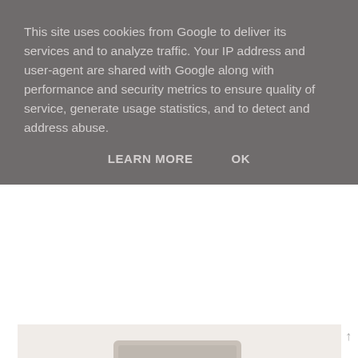This site uses cookies from Google to deliver its services and to analyze traffic. Your IP address and user-agent are shared with Google along with performance and security metrics to ensure quality of service, generate usage statistics, and to detect and address abuse.
LEARN MORE    OK
[Figure (photo): A hand holding a small white skincare serum bottle near a laptop keyboard on a white desk]
[Figure (photo): Partial view of decorative objects including a yellow triangular shape and floral elements with dark background strip]